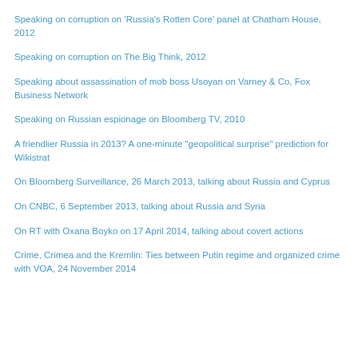Speaking on corruption on 'Russia's Rotten Core' panel at Chatham House, 2012
Speaking on corruption on The Big Think, 2012
Speaking about assassination of mob boss Usoyan on Varney & Co, Fox Business Network
Speaking on Russian espionage on Bloomberg TV, 2010
A friendlier Russia in 2013? A one-minute "geopolitical surprise" prediction for Wikistrat
On Bloomberg Surveillance, 26 March 2013, talking about Russia and Cyprus
On CNBC, 6 September 2013, talking about Russia and Syria
On RT with Oxana Boyko on 17 April 2014, talking about covert actions
Crime, Crimea and the Kremlin: Ties between Putin regime and organized crime with VOA, 24 November 2014